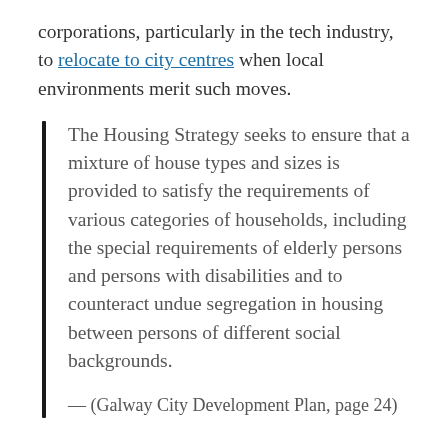corporations, particularly in the tech industry, to relocate to city centres when local environments merit such moves.
The Housing Strategy seeks to ensure that a mixture of house types and sizes is provided to satisfy the requirements of various categories of households, including the special requirements of elderly persons and persons with disabilities and to counteract undue segregation in housing between persons of different social backgrounds.
— (Galway City Development Plan, page 24)